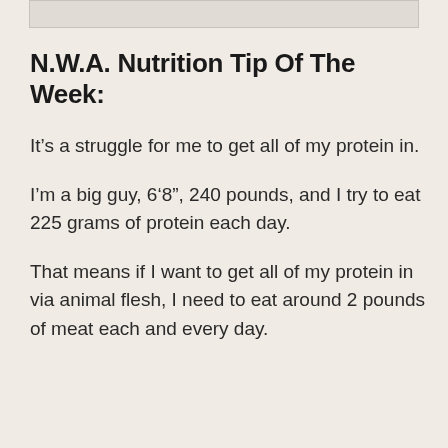N.W.A. Nutrition Tip Of The Week:
It’s a struggle for me to get all of my protein in.
I’m a big guy, 6’8”, 240 pounds, and I try to eat 225 grams of protein each day.
That means if I want to get all of my protein in via animal flesh, I need to eat around 2 pounds of meat each and every day.